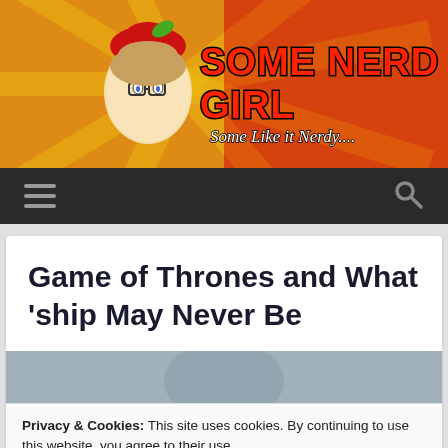[Figure (logo): Some Nerd Girl website header banner with red and yellow sunburst background, cartoon nerd girl mascot with apple hat, red bold text 'SOME NERD GIRL' and italic tagline 'Some Like it Nerdy...']
Navigation bar with hamburger menu icon and search icon
Game of Thrones and What 'ship May Never Be
[Figure (photo): Partial photo of a person in wintry/grey setting, cropped]
Privacy & Cookies: This site uses cookies. By continuing to use this website, you agree to their use.
To find out more, including how to control cookies, see here: Cookie Policy
Close and accept
[Figure (photo): Partial bottom photo strip, dark tones]